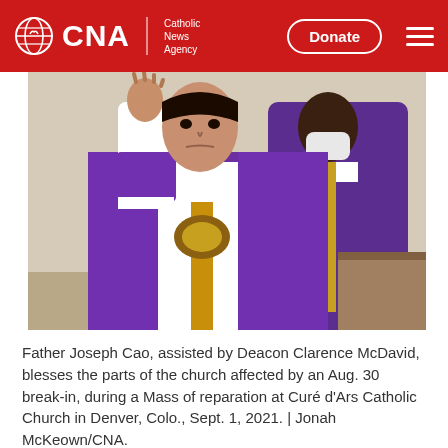CNA | Catholic News Agency
[Figure (photo): Father Joseph Cao in purple vestments raising his right hand in blessing, assisted by Deacon Clarence McDavid wearing a white mask and purple vestments, inside a church.]
Father Joseph Cao, assisted by Deacon Clarence McDavid, blesses the parts of the church affected by an Aug. 30 break-in, during a Mass of reparation at Curé d'Ars Catholic Church in Denver, Colo., Sept. 1, 2021. | Jonah McKeown/CNA.